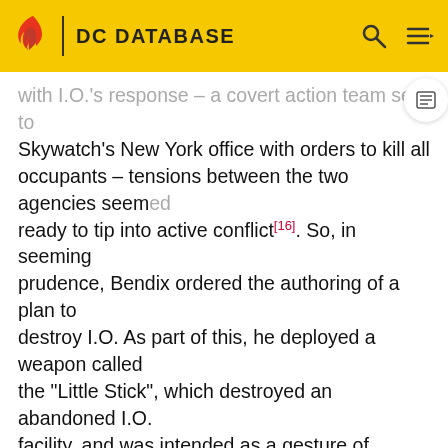DC DATABASE
with I.O.'s response – a covert action team sent to Skywatch's New York office with orders to kill all occupants – tensions between the two agencies seemed ready to tip into active conflict[16]. So, in seeming prudence, Bendix ordered the authoring of a plan to destroy I.O. As part of this, he deployed a weapon called the "Little Stick", which destroyed an abandoned I.O. facility, and was intended as a gesture of intimidation.[17]
The plan, provided by his deputy, Lauren Pennington, would have the eventual outcome of not only destroying I.O., but preventing another group rising to their stature ever again.[16] In the service of that plan, Skywatch began a program of kidnapping whole isolated towns of people in the American midwest.[1][18]